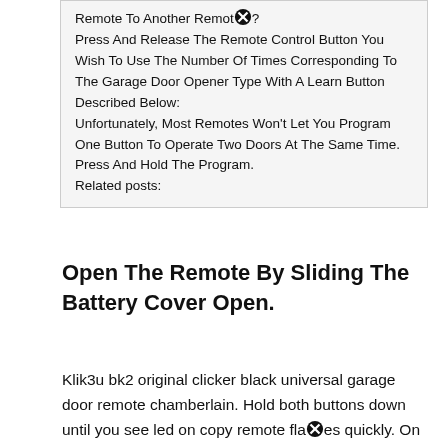Remote To Another Remote? Press And Release The Remote Control Button You Wish To Use The Number Of Times Corresponding To The Garage Door Opener Type With A Learn Button Described Below: Unfortunately, Most Remotes Won't Let You Program One Button To Operate Two Doors At The Same Time. Press And Hold The Program. Related posts:
Open The Remote By Sliding The Battery Cover Open.
Klik3u bk2 original clicker black universal garage door remote chamberlain. Hold both buttons down until you see led on copy remote flames quickly. On the